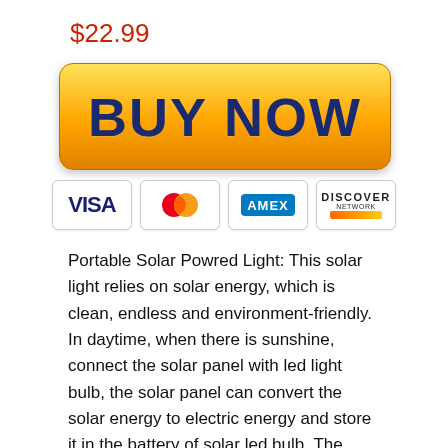$22.99
[Figure (other): Yellow gradient 'BUY NOW' button with rounded corners]
[Figure (other): Payment method icons: VISA, MasterCard, AMEX, DISCOVER]
Portable Solar Powred Light: This solar light relies on solar energy, which is clean, endless and environment-friendly. In daytime, when there is sunshine, connect the solar panel with led light bulb, the solar panel can convert the solar energy to electric energy and store it in the battery of solar led bulb. The charged bulb can be used as a mobile